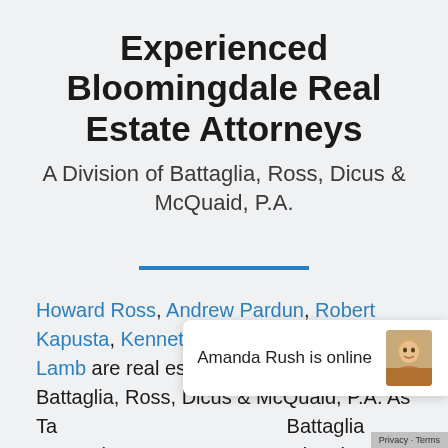Experienced Bloomingdale Real Estate Attorneys
A Division of Battaglia, Ross, Dicus & McQuaid, P.A.
Howard Ross, Andrew Pardun, Robert Kapusta, Kenneth Thornton and Lindsey Lamb are real estate attorneys at Battaglia, Ross, Dicus & McQuaid, P.A. As Tampa Bay's leading firm, Battaglia Ross Dicus ... serving the needs of clients since 1958. We